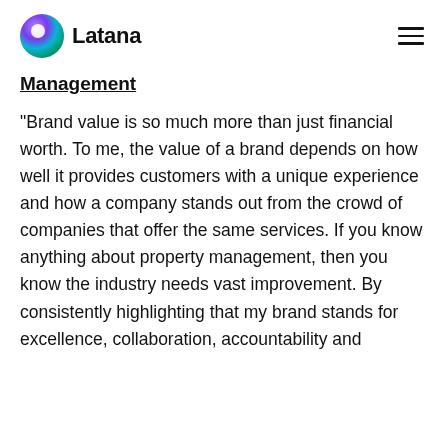Latana
Management
"Brand value is so much more than just financial worth. To me, the value of a brand depends on how well it provides customers with a unique experience and how a company stands out from the crowd of companies that offer the same services. If you know anything about property management, then you know the industry needs vast improvement. By consistently highlighting that my brand stands for excellence, collaboration, accountability and